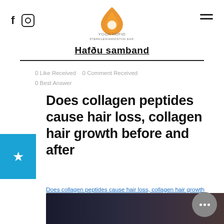Yoga Hofid — Hafðu samband
0 Like Received   0 Comment Received
0 Best Answer
Does collagen peptides cause hair loss, collagen hair growth before and after
Does collagen peptides cause hair loss, collagen hair growth before and after - Legal steroids for sale
[Figure (photo): Dark blurred image preview at bottom of page]